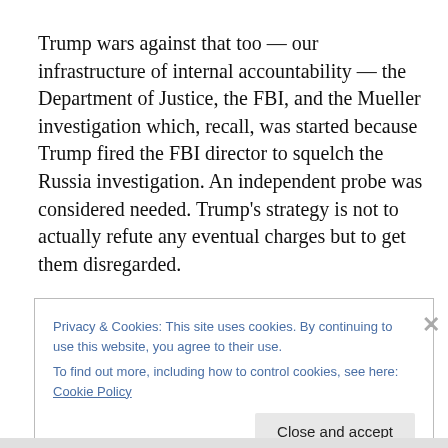Trump wars against that too — our infrastructure of internal accountability — the Department of Justice, the FBI, and the Mueller investigation which, recall, was started because Trump fired the FBI director to squelch the Russia investigation. An independent probe was considered needed. Trump's strategy is not to actually refute any eventual charges but to get them disregarded.
Privacy & Cookies: This site uses cookies. By continuing to use this website, you agree to their use.
To find out more, including how to control cookies, see here: Cookie Policy